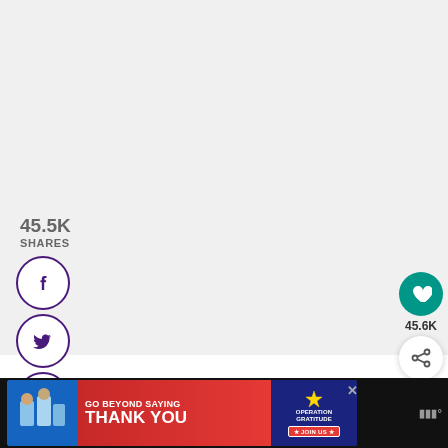[Figure (screenshot): Large light grey/white content area taking up most of the page]
45.5K
SHARES
[Figure (illustration): Facebook share button - circle with purple border and Facebook 'f' icon]
[Figure (illustration): Twitter share button - circle with purple border and Twitter bird icon]
[Figure (illustration): Pinterest share button - circle with purple border and Pinterest 'P' icon]
[Figure (illustration): Email share button - circle with purple border and envelope icon]
[Figure (illustration): Floating heart/like button (teal circle) with count 45.6K and share button below]
45.6K
[Figure (screenshot): What's Next panel with thumbnail images and text 'WHAT'S NEXT → A Zillion Things to...']
[Figure (screenshot): Advertisement banner: GO BEYOND SAYING THANK YOU - Operation Gratitude JOIN US, with MRC logo]